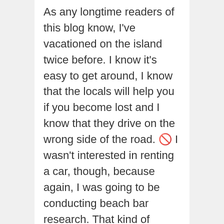As any longtime readers of this blog know, I've vacationed on the island twice before. I know it's easy to get around, I know that the locals will help you if you become lost and I know that they drive on the wrong side of the road. 🚫 I wasn't interested in renting a car, though, because again, I was going to be conducting beach bar research. That kind of research involves rum, preferably copious amounts of it. The idea of drinking and driving didn't sound appealing to me. That's when I reached out to Maurice and Sons and they